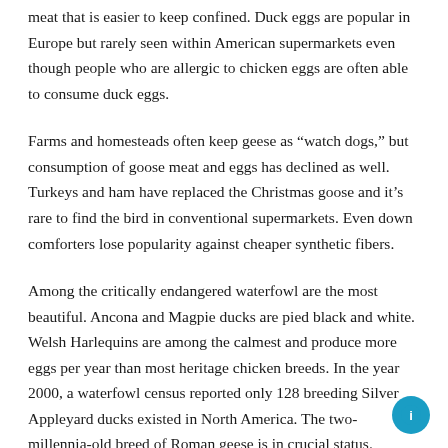meat that is easier to keep confined. Duck eggs are popular in Europe but rarely seen within American supermarkets even though people who are allergic to chicken eggs are often able to consume duck eggs.
Farms and homesteads often keep geese as “watch dogs,” but consumption of goose meat and eggs has declined as well. Turkeys and ham have replaced the Christmas goose and it’s rare to find the bird in conventional supermarkets. Even down comforters lose popularity against cheaper synthetic fibers.
Among the critically endangered waterfowl are the most beautiful. Ancona and Magpie ducks are pied black and white. Welsh Harlequins are among the calmest and produce more eggs per year than most heritage chicken breeds. In the year 2000, a waterfowl census reported only 128 breeding Silver Appleyard ducks existed in North America. The two-millennia-old breed of Roman geese is in crucial status. Ruffle-feathered Sebastapol geese are threatened.
Saving the Species